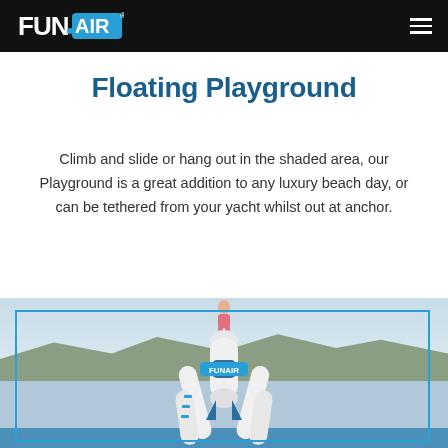FunAir
Floating Playground
Climb and slide or hang out in the shaded area, our Playground is a great addition to any luxury beach day, or can be tethered from your yacht whilst out at anchor.
[Figure (photo): A white and blue inflatable FunAir floating playground tower structure photographed on water with a mountainous coastline in the background. A person stands at the top of the structure.]